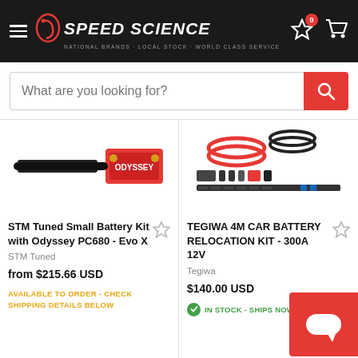Speed Science
What are you looking for?
[Figure (photo): STM Tuned Small Battery Kit with Odyssey PC680 product image showing battery and components]
STM Tuned Small Battery Kit with Odyssey PC680 - Evo X
STM Tuned
from $215.66 USD
AVAILABLE TO ORDER - CHECK SHIPPING DETAILS BELOW
[Figure (photo): TEGIWA 4M Car Battery Relocation Kit product image showing cables, connectors and components]
TEGIWA 4M CAR BATTERY RELOCATION KIT - 300A 12V
Tegiwa
$140.00 USD
IN STOCK - SHIPS NOW